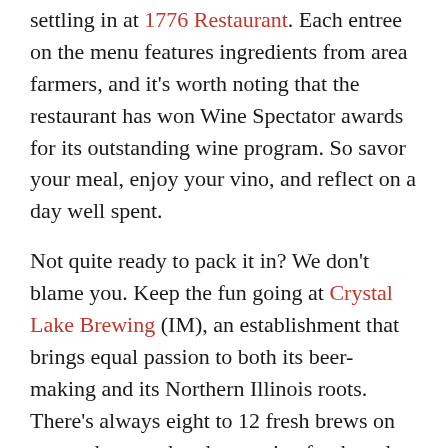settling in at 1776 Restaurant. Each entree on the menu features ingredients from area farmers, and it's worth noting that the restaurant has won Wine Spectator awards for its outstanding wine program. So savor your meal, enjoy your vino, and reflect on a day well spent.
Not quite ready to pack it in? We don't blame you. Keep the fun going at Crystal Lake Brewing (IM), an establishment that brings equal passion to both its beer-making and its Northern Illinois roots. There's always eight to 12 fresh brews on tap, and on weekends, creative food trucks may be on hand serving up snacks.